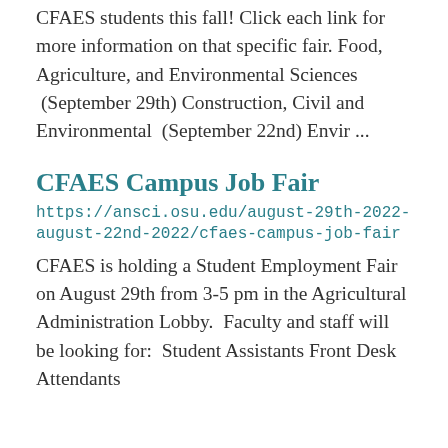CFAES students this fall! Click each link for more information on that specific fair. Food, Agriculture, and Environmental Sciences  (September 29th) Construction, Civil and Environmental  (September 22nd) Envir ...
CFAES Campus Job Fair
https://ansci.osu.edu/august-29th-2022-august-22nd-2022/cfaes-campus-job-fair
CFAES is holding a Student Employment Fair on August 29th from 3-5 pm in the Agricultural Administration Lobby.  Faculty and staff will be looking for:  Student Assistants Front Desk Attendants